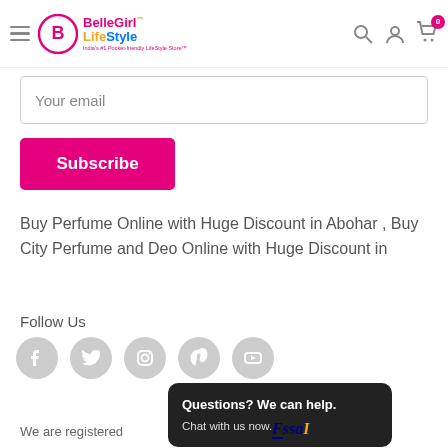[Figure (logo): BelleGirl LifeStyle logo with circular B icon, pink and orange/blue text, tagline 'India's #1 Pocket-friendly LifeStyle Store']
Your email
Subscribe
Buy Perfume Online with Huge Discount in Abohar , Buy City Perfume and Deo Online with Huge Discount in
Follow Us
[Figure (illustration): Social media icons row: Facebook, Twitter, Instagram, Pinterest, YouTube — all gray circles with white icons]
Questions? We can help.
Chat with us now.
We are registered
[Figure (logo): FSSAI logo in blue and orange text]